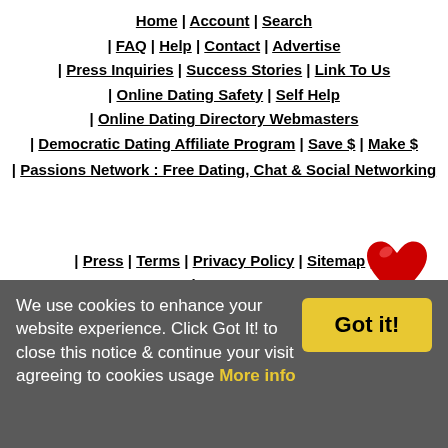[Figure (logo): Blue circle accessibility icon with white stick figure]
Home | Account | Search
| FAQ | Help | Contact | Advertise
| Press Inquiries | Success Stories | Link To Us
| Online Dating Safety | Self Help
| Online Dating Directory Webmasters
| Democratic Dating Affiliate Program | Save $ | Make $
| Passions Network : Free Dating, Chat & Social Networking
[Figure (illustration): Red glossy heart illustration]
| Press | Terms | Privacy Policy | Sitemap | Dating Features
© 2004 - 2022
We use cookies to enhance your website experience. Click Got It! to close this notice & continue your visit agreeing to cookies usage More info
Got it!